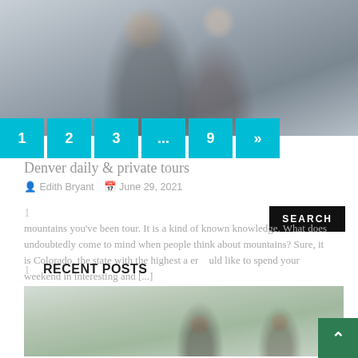[Figure (photo): Two women travelers near a vehicle, one raising her arm, both smiling. Muted gray tones.]
1
2
3
...
9
»
Denver daily & private tours
Edith Bryant   June 29, 2021
1
mountains you've been tour. It is a kind of known knowledge. What does undoubtedly come to mind when people think about mountains? Sure, it is Colorado, the state with the highest a er    uld like to spend your weekend in interesting and [...]
SEARCH
RECENT POSTS
[Figure (photo): Office scene with people working at computers, bright window in background, green plants visible.]